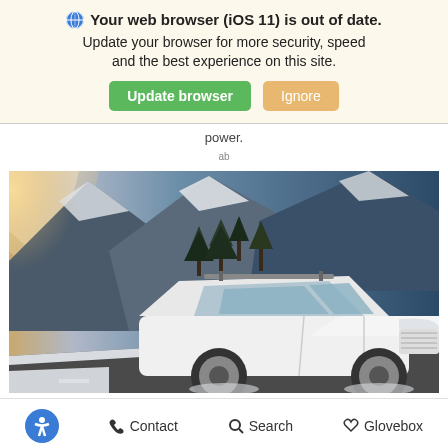Your web browser (iOS 11) is out of date. Update your browser for more security, speed and the best experience on this site. [Update browser] [Ignore]
power.
[Figure (photo): A white Ford Explorer SUV driving on a snowy mountain road with evergreen trees and rocky mountains in the background.]
Contact  Search  Glovebox